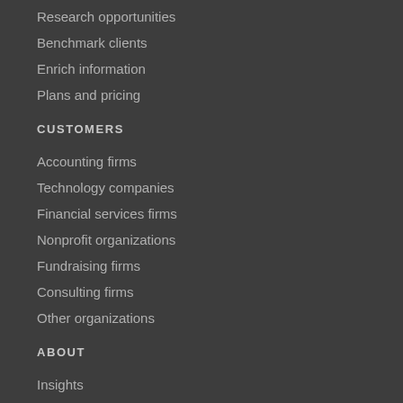Research opportunities
Benchmark clients
Enrich information
Plans and pricing
CUSTOMERS
Accounting firms
Technology companies
Financial services firms
Nonprofit organizations
Fundraising firms
Consulting firms
Other organizations
ABOUT
Insights
Better data
Purpose-built tools